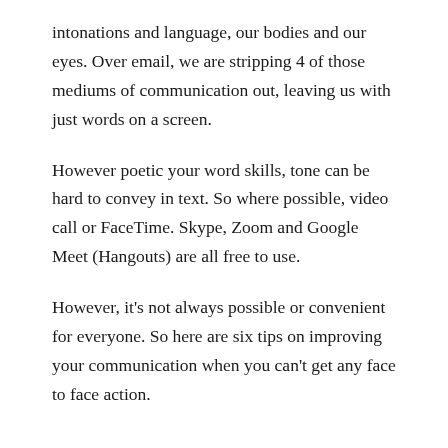intonations and language, our bodies and our eyes. Over email, we are stripping 4 of those mediums of communication out, leaving us with just words on a screen.
However poetic your word skills, tone can be hard to convey in text. So where possible, video call or FaceTime. Skype, Zoom and Google Meet (Hangouts) are all free to use.
However, it's not always possible or convenient for everyone. So here are six tips on improving your communication when you can't get any face to face action.